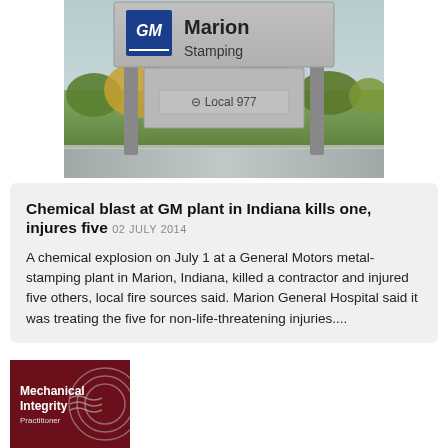[Figure (photo): Exterior sign for GM Marion Stamping plant, showing GM logo in blue square, text 'Marion Stamping', and a Local 977 sign below, with trees and parking lot in background]
Chemical blast at GM plant in Indiana kills one, injures five 02 JULY 2014
A chemical explosion on July 1 at a General Motors metal-stamping plant in Marion, Indiana, killed a contractor and injured five others, local fire sources said. Marion General Hospital said it was treating the five for non-life-threatening injuries....
[Figure (logo): Mechanical Integrity Practitioner logo on dark red background with circular wave design]